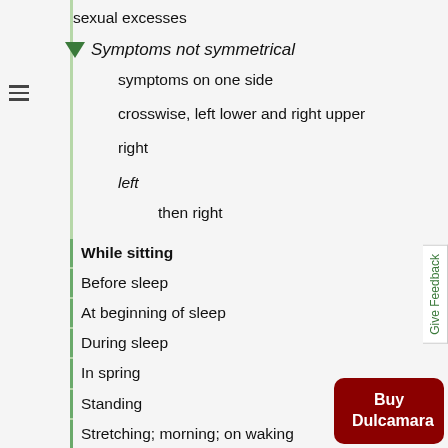sexual excesses
Symptoms not symmetrical
symptoms on one side
crosswise, left lower and right upper
right
left
then right
While sitting
Before sleep
At beginning of sleep
During sleep
In spring
Standing
Stretching; morning; on waking